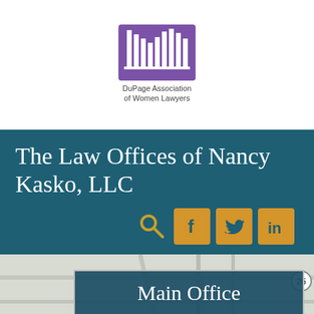[Figure (logo): DuPage Association of Women Lawyers logo — purple square with white vertical bar columns graphic, text 'DuPage Association of Women Lawyers' below]
The Law Offices of Nancy Kasko, LLC
[Figure (infographic): Social media icon row: search magnifying glass icon, Facebook (f) button in gold, Twitter (bird) button in gold, LinkedIn (in) button in gold]
[Figure (map): Street map background showing road grid, with '25' route badge and 'Wayne' label partially visible at right edge]
Main Office
2100 Manchester Road, Suite 1720, Wheaton, Illinois 60187